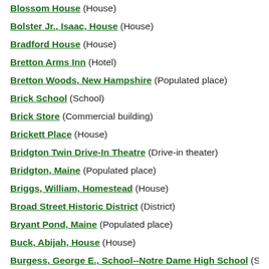Blossom House (House)
Bolster Jr., Isaac, House (House)
Bradford House (House)
Bretton Arms Inn (Hotel)
Bretton Woods, New Hampshire (Populated place)
Brick School (School)
Brick Store (Commercial building)
Brickett Place (House)
Bridgton Twin Drive-In Theatre (Drive-in theater)
Bridgton, Maine (Populated place)
Briggs, William, Homestead (House)
Broad Street Historic District (District)
Bryant Pond, Maine (Populated place)
Buck, Abijah, House (House)
Burgess, George E., School--Notre Dame High School (Sc…)
Burklyn Hall (Meeting hall)
Burlington General Bridge (Bridge)